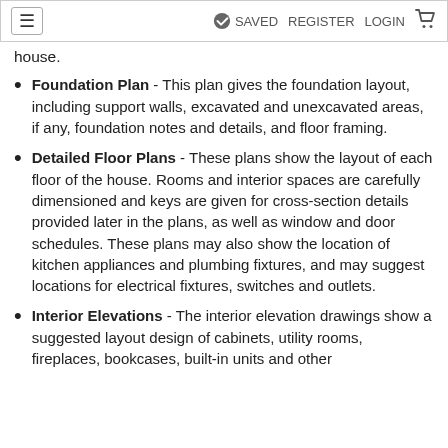≡   ✔ SAVED   REGISTER   LOGIN   🛒
house.
Foundation Plan - This plan gives the foundation layout, including support walls, excavated and unexcavated areas, if any, foundation notes and details, and floor framing.
Detailed Floor Plans - These plans show the layout of each floor of the house. Rooms and interior spaces are carefully dimensioned and keys are given for cross-section details provided later in the plans, as well as window and door schedules. These plans may also show the location of kitchen appliances and plumbing fixtures, and may suggest locations for electrical fixtures, switches and outlets.
Interior Elevations - The interior elevation drawings show a suggested layout design of cabinets, utility rooms, fireplaces, bookcases, built-in units and other